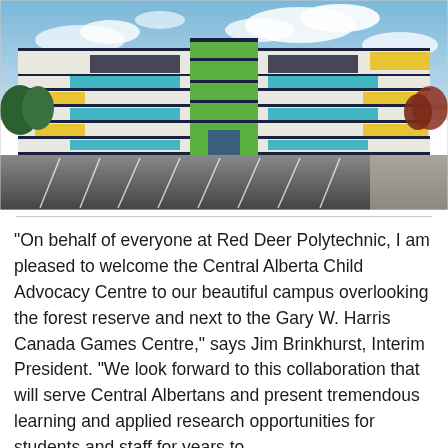[Figure (photo): Architectural rendering of a modern multi-story building with white exterior accented by green, blue/teal, yellow, and black geometric stripe patterns. A large parking lot in the foreground, blue sky with clouds above. Appears to be the Central Alberta Child Advocacy Centre at Red Deer Polytechnic campus.]
“On behalf of everyone at Red Deer Polytechnic, I am pleased to welcome the Central Alberta Child Advocacy Centre to our beautiful campus overlooking the forest reserve and next to the Gary W. Harris Canada Games Centre,” says Jim Brinkhurst, Interim President. “We look forward to this collaboration that will serve Central Albertans and present tremendous learning and applied research opportunities for students and staff for years to